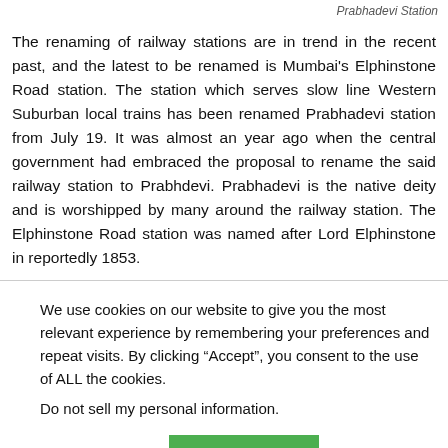Prabhadevi Station
The renaming of railway stations are in trend in the recent past, and the latest to be renamed is Mumbai's Elphinstone Road station. The station which serves slow line Western Suburban local trains has been renamed Prabhadevi station from July 19. It was almost an year ago when the central government had embraced the proposal to rename the said railway station to Prabhdevi. Prabhadevi is the native deity and is worshipped by many around the railway station. The Elphinstone Road station was named after Lord Elphinstone in reportedly 1853.
We use cookies on our website to give you the most relevant experience by remembering your preferences and repeat visits. By clicking “Accept”, you consent to the use of ALL the cookies.
Do not sell my personal information.
Cookie settings  ACCEPT